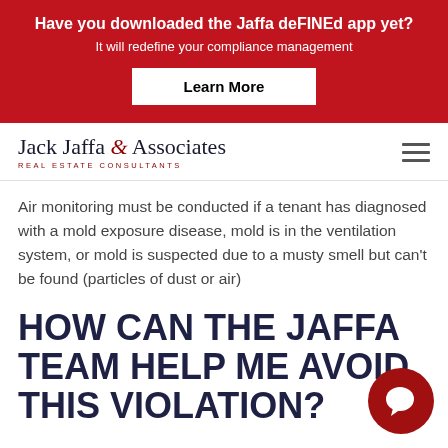Have you downloaded the Jaffa deFINEd app yet? It will redefine your compliance management Learn More
[Figure (logo): Jack Jaffa & Associates Real Estate Consultants logo with hamburger menu icon]
Air monitoring must be conducted if a tenant has diagnosed with a mold exposure disease, mold is in the ventilation system, or mold is suspected due to a musty smell but can't be found (particles of dust or air)
HOW CAN THE JAFFA TEAM HELP ME AVOID THIS VIOLATION?